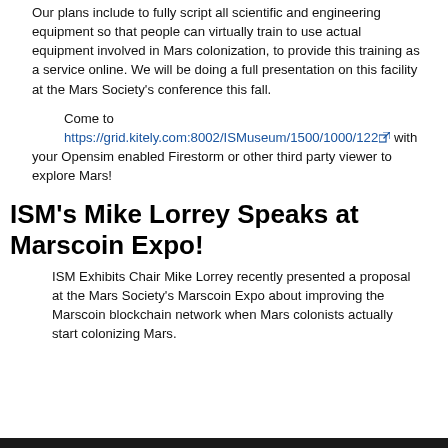Our plans include to fully script all scientific and engineering equipment so that people can virtually train to use actual equipment involved in Mars colonization, to provide this training as a service online. We will be doing a full presentation on this facility at the Mars Society's conference this fall.
Come to https://grid.kitely.com:8002/ISMuseum/1500/1000/122 with your Opensim enabled Firestorm or other third party viewer to explore Mars!
ISM's Mike Lorrey Speaks at Marscoin Expo!
ISM Exhibits Chair Mike Lorrey recently presented a proposal at the Mars Society's Marscoin Expo about improving the Marscoin blockchain network when Mars colonists actually start colonizing Mars.